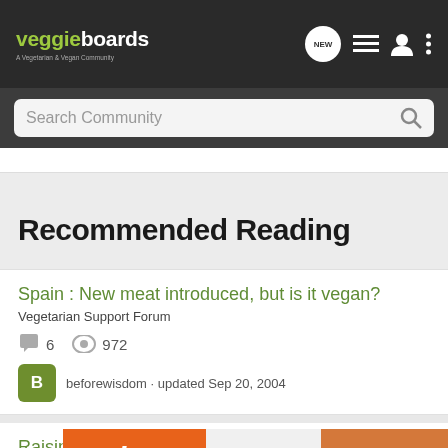veggieboards - A Vegetarian & Vegan Community
Search Community
Recommended Reading
Spain : New meat introduced, but is it vegan?
Vegetarian Support Forum
6 replies · 972 views
beforewisdom · updated Sep 20, 2004
Raising Meat Type Chickens
Animal...